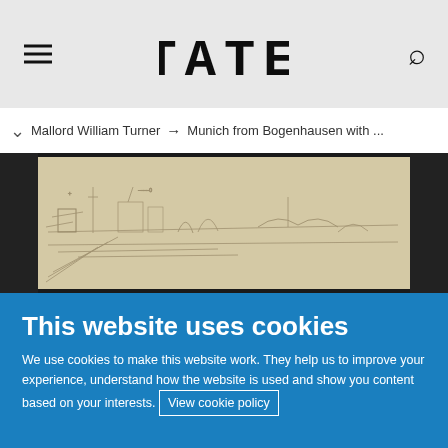TATE
Mallord William Turner → Munich from Bogenhausen with ...
[Figure (photo): A pencil sketch artwork by Turner, showing a landscape with buildings and trees in light pencil strokes on cream/beige paper, displayed against a dark background.]
This website uses cookies
We use cookies to make this website work. They help us to improve your experience, understand how the website is used and show you content based on your interests. View cookie policy